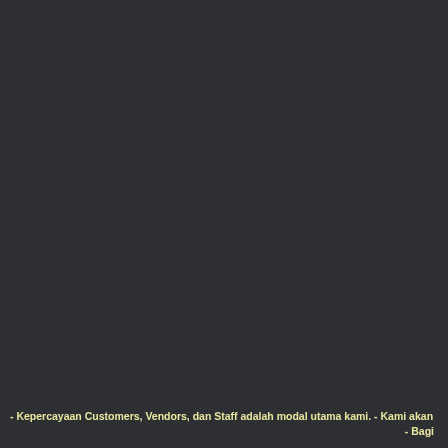- Kepercayaan Customers, Vendors, dan Staff adalah modal utama kami.  - Kami akan
- Bagi